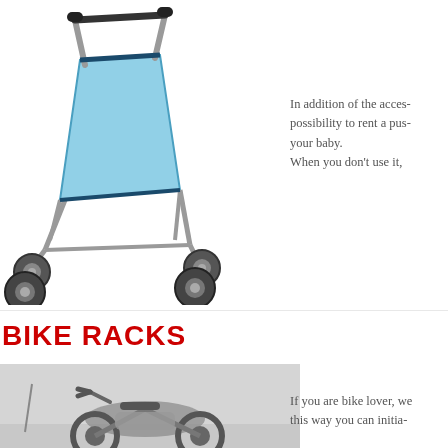[Figure (photo): A blue baby stroller/pushchair with grey metal frame and four wheels, photographed on white background]
In addition of the acces- possibility to rent a pus- your baby. When you don't use it,
BIKE RACKS
[Figure (photo): A motorcycle or bike photographed outdoors, appearing to be parked, in a grey-toned image]
If you are bike lover, we this way you can initia-